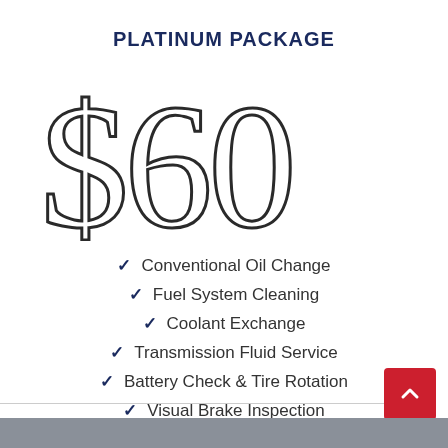PLATINUM PACKAGE
[Figure (other): Large outlined price display showing '$60' in thin stroke outline style]
Conventional Oil Change
Fuel System Cleaning
Coolant Exchange
Transmission Fluid Service
Battery Check & Tire Rotation
Visual Brake Inspection